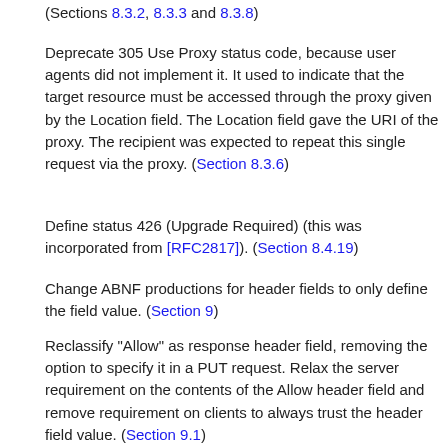(Sections 8.3.2, 8.3.3 and 8.3.8)
Deprecate 305 Use Proxy status code, because user agents did not implement it. It used to indicate that the target resource must be accessed through the proxy given by the Location field. The Location field gave the URI of the proxy. The recipient was expected to repeat this single request via the proxy. (Section 8.3.6)
Define status 426 (Upgrade Required) (this was incorporated from [RFC2817]). (Section 8.4.19)
Change ABNF productions for header fields to only define the field value. (Section 9)
Reclassify "Allow" as response header field, removing the option to specify it in a PUT request. Relax the server requirement on the contents of the Allow header field and remove requirement on clients to always trust the header field value. (Section 9.1)